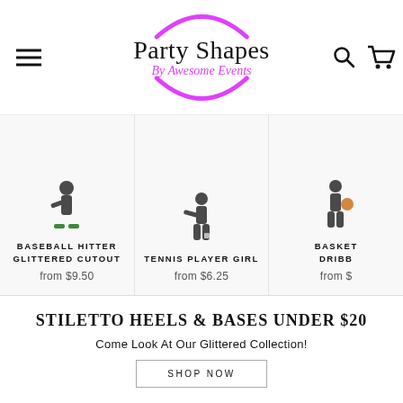Party Shapes By Awesome Events
BASEBALL HITTER GLITTERED CUTOUT
from $9.50
TENNIS PLAYER GIRL
from $6.25
BASKET DRIBB
from $
STILETTO HEELS & BASES UNDER $20
Come Look At Our Glittered Collection!
SHOP NOW